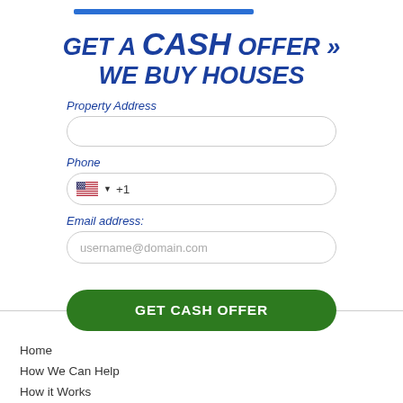GET a CASH OFFER » WE BUY HOUSES
Property Address
Phone
Email address:
username@domain.com
GET CASH OFFER
Home
How We Can Help
How it Works
Blog